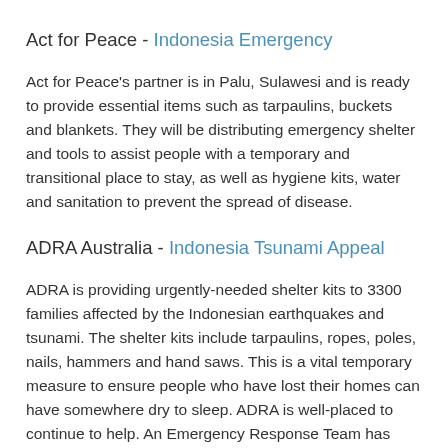Act for Peace - Indonesia Emergency
Act for Peace's partner is in Palu, Sulawesi and is ready to provide essential items such as tarpaulins, buckets and blankets. They will be distributing emergency shelter and tools to assist people with a temporary and transitional place to stay, as well as hygiene kits, water and sanitation to prevent the spread of disease.
ADRA Australia - Indonesia Tsunami Appeal
ADRA is providing urgently-needed shelter kits to 3300 families affected by the Indonesian earthquakes and tsunami. The shelter kits include tarpaulins, ropes, poles, nails, hammers and hand saws. This is a vital temporary measure to ensure people who have lost their homes can have somewhere dry to sleep. ADRA is well-placed to continue to help. An Emergency Response Team has already been deployed and plans are underway to fund